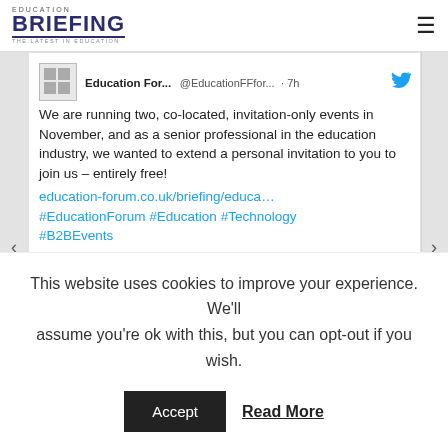EDUCATION BRIEFING - THE LATEST IN EDUCATION
[Figure (screenshot): Twitter/X post from Education Forum (@EducationFForum) 7h ago with text about co-located invitation-only events in November, link and hashtags, with a preview card showing education-forum.co.uk and 'Education Forum & Education Tech Forum: the only events ...']
This website uses cookies to improve your experience. We'll assume you're ok with this, but you can opt-out if you wish.
Accept   Read More